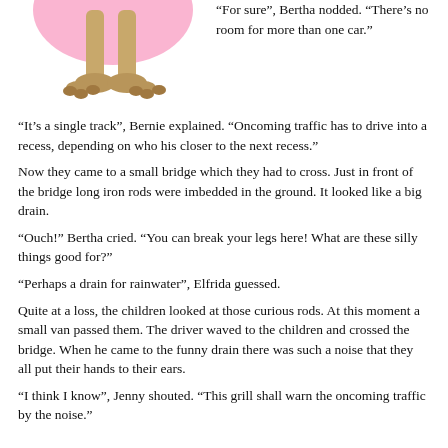[Figure (illustration): Cartoon illustration showing the legs and feet of a character (ostrich-like legs with tan/brown coloring) against a pink circular background at the top.]
“For sure”, Bertha nodded. “There’s no room for more than one car.”
“It’s a single track”, Bernie explained. “Oncoming traffic has to drive into a recess, depending on who his closer to the next recess.”
Now they came to a small bridge which they had to cross. Just in front of the bridge long iron rods were imbedded in the ground. It looked like a big drain.
“Ouch!” Bertha cried. “You can break your legs here! What are these silly things good for?”
“Perhaps a drain for rainwater”, Elfrida guessed.
Quite at a loss, the children looked at those curious rods. At this moment a small van passed them. The driver waved to the children and crossed the bridge. When he came to the funny drain there was such a noise that they all put their hands to their ears.
“I think I know”, Jenny shouted. “This grill shall warn the oncoming traffic by the noise.”